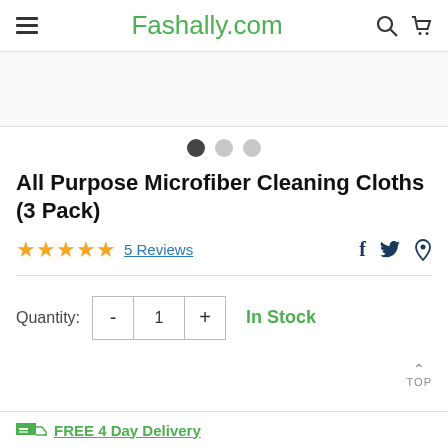Fashally.com
[Figure (screenshot): Product image area (blank/white) with carousel navigation dots below]
All Purpose Microfiber Cleaning Cloths (3 Pack)
★★★★★  5 Reviews   f  🐦  𝓅
Quantity: - 1 +  In Stock
TOP
FREE 4 Day Delivery